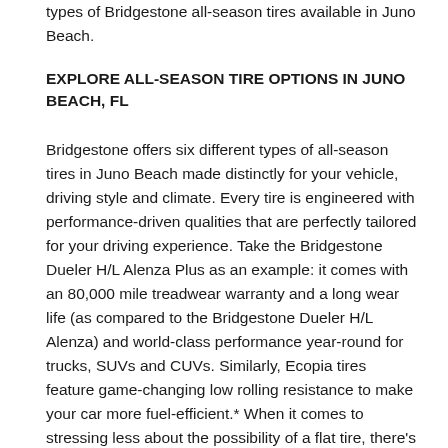types of Bridgestone all-season tires available in Juno Beach.
EXPLORE ALL-SEASON TIRE OPTIONS IN JUNO BEACH, FL
Bridgestone offers six different types of all-season tires in Juno Beach made distinctly for your vehicle, driving style and climate. Every tire is engineered with performance-driven qualities that are perfectly tailored for your driving experience. Take the Bridgestone Dueler H/L Alenza Plus as an example: it comes with an 80,000 mile treadwear warranty and a long wear life (as compared to the Bridgestone Dueler H/L Alenza) and world-class performance year-round for trucks, SUVs and CUVs. Similarly, Ecopia tires feature game-changing low rolling resistance to make your car more fuel-efficient.* When it comes to stressing less about the possibility of a flat tire, there's DriveGuard. DriveGuard tires can still perform for up to 50 miles after a puncture.** If you want precision in rain, snow, or heat, Turanza tires may be the perfect